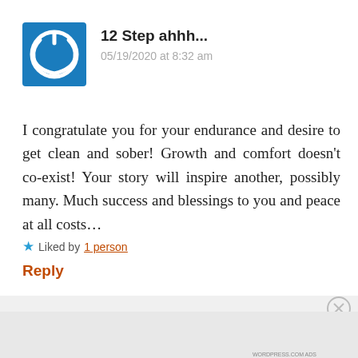[Figure (logo): Blue square avatar with white power/circle icon for user '12 Step ahhh...']
12 Step ahhh...
05/19/2020 at 8:32 am
I congratulate you for your endurance and desire to get clean and sober! Growth and comfort doesn’t co-exist! Your story will inspire another, possibly many. Much success and blessings to you and peace at all costs…
★ Liked by 1 person
Reply
Advertisements
[Figure (screenshot): Dark advertisement banner: 'Launch your online course with WordPress' with 'Learn More' button]